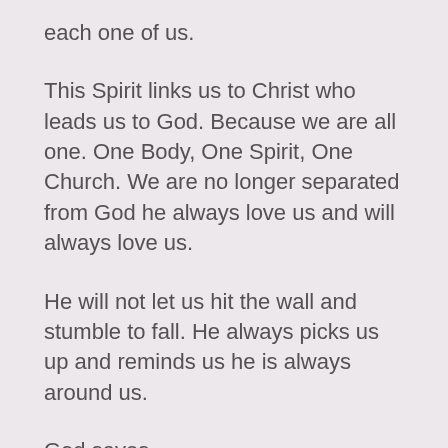each one of us.
This Spirit links us to Christ who leads us to God. Because we are all one. One Body, One Spirit, One Church. We are no longer separated from God he always love us and will always love us.
He will not let us hit the wall and stumble to fall. He always picks us up and reminds us he is always around us.
God saves.
God lives.
God reigns